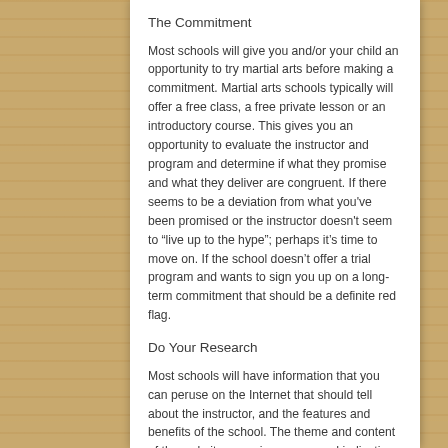The Commitment
Most schools will give you and/or your child an opportunity to try martial arts before making a commitment. Martial arts schools typically will offer a free class, a free private lesson or an introductory course. This gives you an opportunity to evaluate the instructor and program and determine if what they promise and what they deliver are congruent. If there seems to be a deviation from what you've been promised or the instructor doesn't seem to “live up to the hype”; perhaps it’s time to move on. If the school doesn’t offer a trial program and wants to sign you up on a long-term commitment that should be a definite red flag.
Do Your Research
Most schools will have information that you can peruse on the Internet that should tell about the instructor, and the features and benefits of the school. The theme and content of the website may give you a good indication of whether this is a school you may want to consider. Remember why